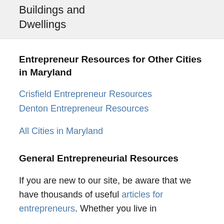Buildings and Dwellings
Entrepreneur Resources for Other Cities in Maryland
Crisfield Entrepreneur Resources
Denton Entrepreneur Resources
All Cities in Maryland
General Entrepreneurial Resources
If you are new to our site, be aware that we have thousands of useful articles for entrepreneurs. Whether you live in